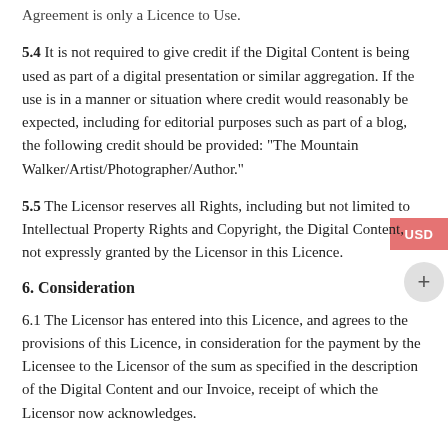Agreement is only a Licence to Use.
5.4 It is not required to give credit if the Digital Content is being used as part of a digital presentation or similar aggregation. If the use is in a manner or situation where credit would reasonably be expected, including for editorial purposes such as part of a blog, the following credit should be provided: “The Mountain Walker/Artist/Photographer/Author.”
5.5 The Licensor reserves all Rights, including but not limited to Intellectual Property Rights and Copyright, the Digital Content, not expressly granted by the Licensor in this Licence.
6. Consideration
6.1 The Licensor has entered into this Licence, and agrees to the provisions of this Licence, in consideration for the payment by the Licensee to the Licensor of the sum as specified in the description of the Digital Content and our Invoice, receipt of which the Licensor now acknowledges.